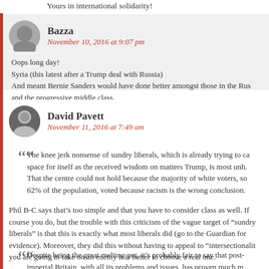Yours in international solidarity!
Bazza
November 10, 2016 at 9:07 pm
Oops long day!
Syria (this latest after a Trump deal with Russia)
And meant Bernie Sanders would have done better amongst those in the Rus and the progressive middle class.
David Pavett
November 11, 2016 at 7:49 am
The knee jerk nonsense of sundry liberals, which is already trying to ca space for itself as the received wisdom on matters Trump, is most unh. That the centre could not hold because the majority of white voters, so 62% of the population, voted because racism is the wrong conclusion.
Phil B-C says that’s too simple and that you have to consider class as well. If course you do, but the trouble with this criticism of the vague target of “sundry liberals” is that this is exactly what most liberals did (go to the Guardian for evidence). Moreover, they did this without having to appeal to “intersectionalit you are going to take on an enemy it is better to choose a real one.
Despite being the great melting pot, it’s probably fair to say that post-imperial Britain, with all its problems and issues, has proven much m